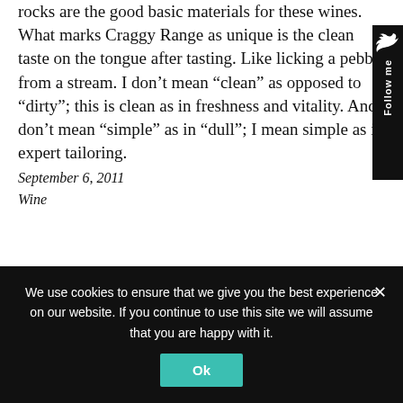rocks are the good basic materials for these wines. What marks Craggy Range as unique is the clean taste on the tongue after tasting. Like licking a pebble from a stream. I don’t mean “clean” as opposed to “dirty”; this is clean as in freshness and vitality. And I don’t mean “simple” as in “dull”; I mean simple as in expert tailoring.
September 6, 2011
Wine
[Figure (other): Follow me sidebar button with bird icon, rotated text saying 'Follow me' on black background]
We use cookies to ensure that we give you the best experience on our website. If you continue to use this site we will assume that you are happy with it.